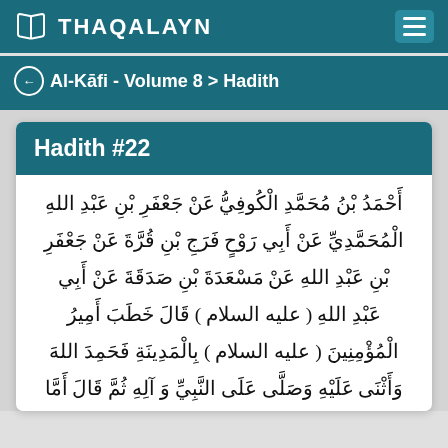THAQALAYN
Al-Kāfi - Volume 8 > Hadith
Hadith #22
أَحْمَدُ بْنُ مُحَمَّدِ الْكُوفِيُّ عَنْ جَعْفَرِ بْنِ عَبْدِ اللهِ الْمُحَمَّدِيِّ عَنْ أَبِي رَوْحٍ فَرَجِ بْنِ قُرَّةَ عَنْ جَعْفَرِ بْنِ عَبْدِ اللهِ عَنْ مَسْعَدَةَ بْنِ صَدَقَةَ عَنْ أَبِي عَبْدِ اللهِ ( عليه السلام ) قَالَ خَطَبَ أَمِيرُ الْمُؤْمِنِينَ ( عليه السلام ) بِالْمَدِينَةِ فَحَمِدَ اللهَ وَأَثْنَى عَلَيْهِ وَصَلَّى عَلَى النَّبِيِّ وَ آلِهِ ثُمَّ قَالَ أَمَّا